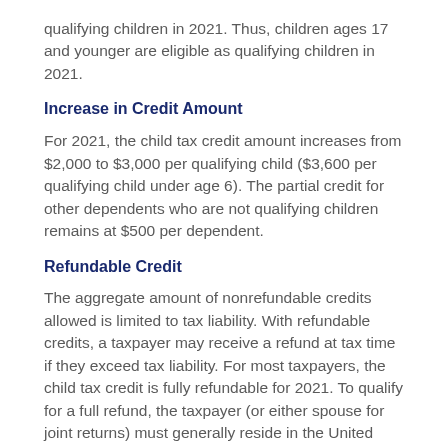qualifying children in 2021. Thus, children ages 17 and younger are eligible as qualifying children in 2021.
Increase in Credit Amount
For 2021, the child tax credit amount increases from $2,000 to $3,000 per qualifying child ($3,600 per qualifying child under age 6). The partial credit for other dependents who are not qualifying children remains at $500 per dependent.
Refundable Credit
The aggregate amount of nonrefundable credits allowed is limited to tax liability. With refundable credits, a taxpayer may receive a refund at tax time if they exceed tax liability. For most taxpayers, the child tax credit is fully refundable for 2021. To qualify for a full refund, the taxpayer (or either spouse for joint returns) must generally reside in the United States for more than one-half of the taxable year.